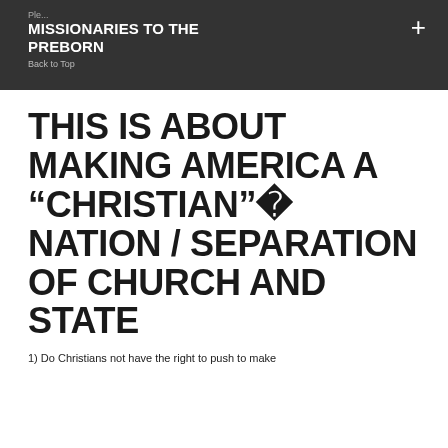MISSIONARIES TO THE PREBORN
Ple...
Back to Top
THIS IS ABOUT MAKING AMERICA A “CHRISTIAN”😶 NATION / SEPARATION OF CHURCH AND STATE
1) Do Christians not have the right to push to make